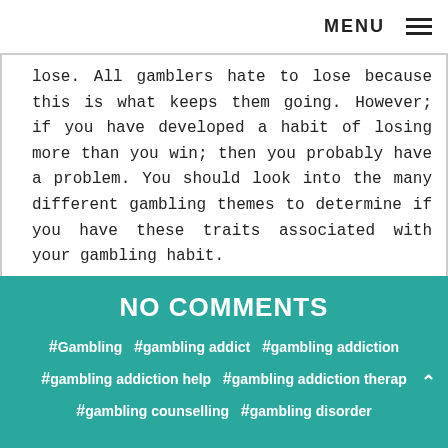MENU ≡
lose. All gamblers hate to lose because this is what keeps them going. However; if you have developed a habit of losing more than you win; then you probably have a problem. You should look into the many different gambling themes to determine if you have these traits associated with your gambling habit.
NO COMMENTS
#Gambling  #gambling addict  #gambling addiction
#gambling addiction help  #gambling addiction therap
#gambling counselling  #gambling disorder